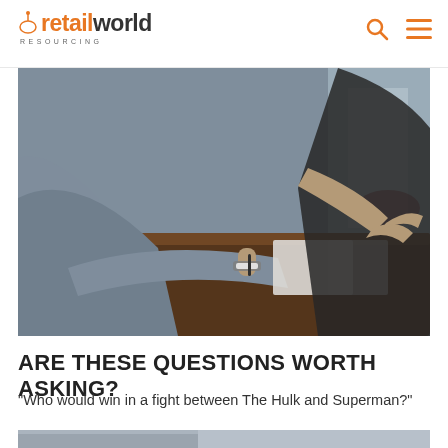retailworld RESOURCING
[Figure (photo): Two people at a wooden table in a meeting or interview setting. One person is holding a pen and writing on paper, wearing a watch and grey long-sleeve top. The other person, in a black shirt, appears to be gesturing with hands. Background is blurred, showing a glass window exterior.]
ARE THESE QUESTIONS WORTH ASKING?
"Who would win in a fight between The Hulk and Superman?"
[Figure (photo): Bottom partial photo — grey/blue tones, appears to be partial view of another article image.]